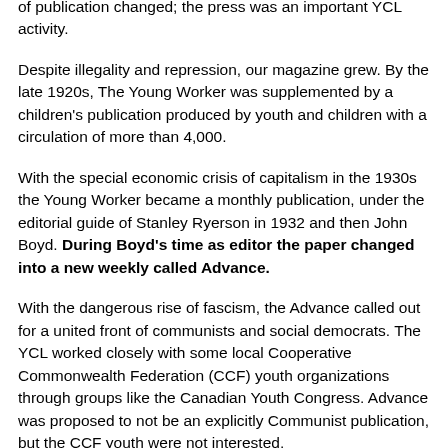of publication changed; the press was an important YCL activity.
Despite illegality and repression, our magazine grew. By the late 1920s, The Young Worker was supplemented by a children's publication produced by youth and children with a circulation of more than 4,000.
With the special economic crisis of capitalism in the 1930s the Young Worker became a monthly publication, under the editorial guide of Stanley Ryerson in 1932 and then John Boyd. During Boyd's time as editor the paper changed into a new weekly called Advance.
With the dangerous rise of fascism, the Advance called out for a united front of communists and social democrats. The YCL worked closely with some local Cooperative Commonwealth Federation (CCF) youth organizations through groups like the Canadian Youth Congress. Advance was proposed to not be an explicitly Communist publication, but the CCF youth were not interested.